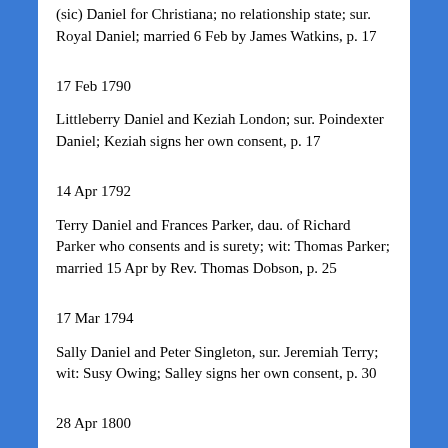(sic) Daniel for Christiana; no relationship state; sur. Royal Daniel; married 6 Feb by James Watkins, p. 17
17 Feb 1790
Littleberry Daniel and Keziah London; sur. Poindexter Daniel; Keziah signs her own consent, p. 17
14 Apr 1792
Terry Daniel and Frances Parker, dau. of Richard Parker who consents and is surety; wit: Thomas Parker; married 15 Apr by Rev. Thomas Dobson, p. 25
17 Mar 1794
Sally Daniel and Peter Singleton, sur. Jeremiah Terry; wit: Susy Owing; Salley signs her own consent, p. 30
28 Apr 1800
Chesley Daniel and Nancy Sims, dau. of John Sims who